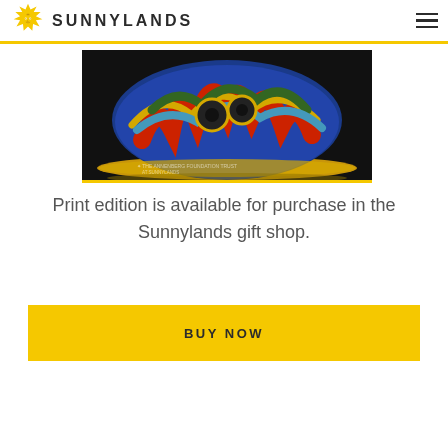SUNNYLANDS
[Figure (photo): Close-up photograph of a colorful cloisonné decorative object with intricate enamel patterns in blue, red, green, and gold on a dark background. A small Annenberg Foundation Trust watermark is visible in the lower left corner.]
Print edition is available for purchase in the Sunnylands gift shop.
BUY NOW